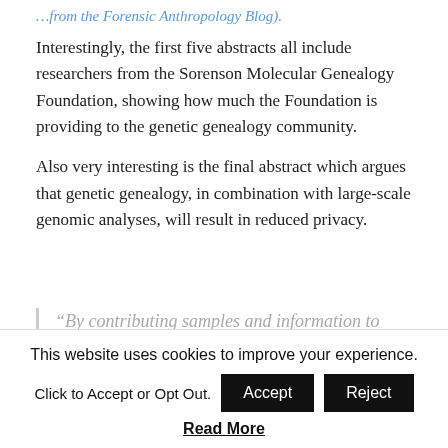…from the Forensic Anthropology Blog).
Interestingly, the first five abstracts all include researchers from the Sorenson Molecular Genealogy Foundation, showing how much the Foundation is providing to the genetic genealogy community.
Also very interesting is the final abstract which argues that genetic genealogy, in combination with large-scale genomic analyses, will result in reduced privacy.
“By contributing samples and information to repositories specializing in genetic
This website uses cookies to improve your experience. Click to Accept or Opt Out.
Read More